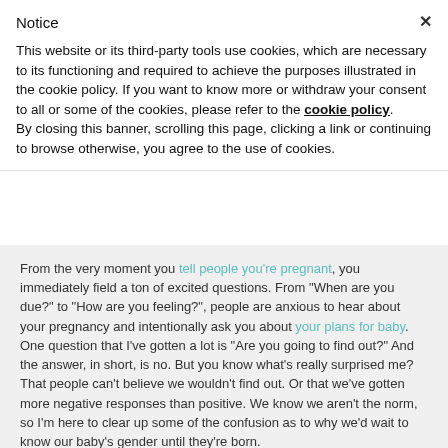Notice
This website or its third-party tools use cookies, which are necessary to its functioning and required to achieve the purposes illustrated in the cookie policy. If you want to know more or withdraw your consent to all or some of the cookies, please refer to the cookie policy.
By closing this banner, scrolling this page, clicking a link or continuing to browse otherwise, you agree to the use of cookies.
From the very moment you tell people you're pregnant, you immediately field a ton of excited questions. From "When are you due?" to "How are you feeling?", people are anxious to hear about your pregnancy and intentionally ask you about your plans for baby. One question that I've gotten a lot is "Are you going to find out?" And the answer, in short, is no. But you know what's really surprised me? That people can't believe we wouldn't find out. Or that we've gotten more negative responses than positive. We know we aren't the norm, so I'm here to clear up some of the confusion as to why we'd wait to know our baby's gender until they're born.